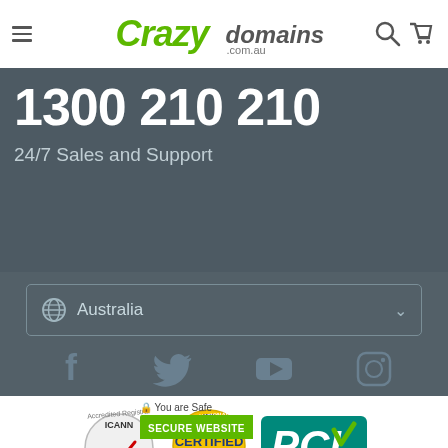Crazy Domains .com.au — navigation bar with hamburger menu, logo, search and cart icons
1300 210 210
24/7 Sales and Support
Australia — country selector dropdown
[Figure (logo): Social media icons row: Facebook, Twitter, YouTube, Instagram]
[Figure (logo): Trust badges: ICANN Accredited Registrar, Internationally Certified Recognised, PCI DSS Compliant]
[Figure (infographic): Secure website badge: padlock icon, 'You are Safe', green 'SECURE WEBSITE' label, 'CrazyDomains.com' with gold lock and checkmark]